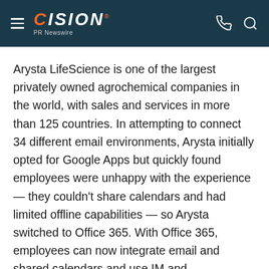CISION PR Newswire
Arysta LifeScience is one of the largest privately owned agrochemical companies in the world, with sales and services in more than 125 countries. In attempting to connect 34 different email environments, Arysta initially opted for Google Apps but quickly found employees were unhappy with the experience — they couldn't share calendars and had limited offline capabilities — so Arysta switched to Office 365. With Office 365, employees can now integrate email and shared calendars and use IM and webconferencing to connect with colleagues around the world while they are on the road or working from